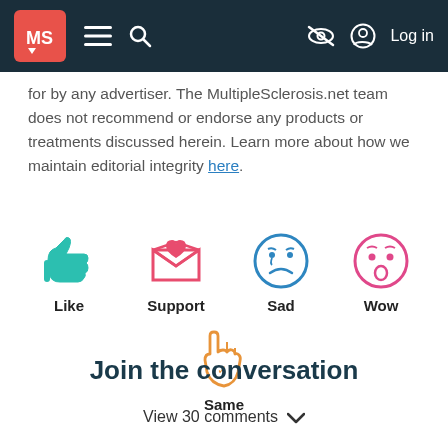MS [logo] ≡ 🔍 [eye-slash] [user] Log in
for by any advertiser. The MultipleSclerosis.net team does not recommend or endorse any products or treatments discussed herein. Learn more about how we maintain editorial integrity here.
[Figure (infographic): Reaction icons: Like (thumbs up, teal), Support (heart envelope, red), Sad (sad face, blue), Wow (surprised face, pink), Same (raised hand, orange)]
Join the conversation
View 30 comments ∨